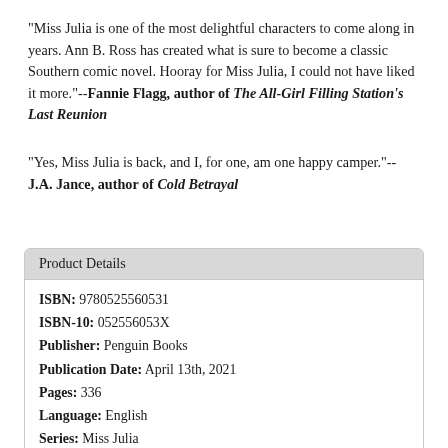"Miss Julia is one of the most delightful characters to come along in years. Ann B. Ross has created what is sure to become a classic Southern comic novel. Hooray for Miss Julia, I could not have liked it more."--Fannie Flagg, author of The All-Girl Filling Station's Last Reunion
"Yes, Miss Julia is back, and I, for one, am one happy camper."--J.A. Jance, author of Cold Betrayal
| Product Details |
| --- |
| ISBN: 9780525560531 |
| ISBN-10: 052556053X |
| Publisher: Penguin Books |
| Publication Date: April 13th, 2021 |
| Pages: 336 |
| Language: English |
| Series: Miss Julia |